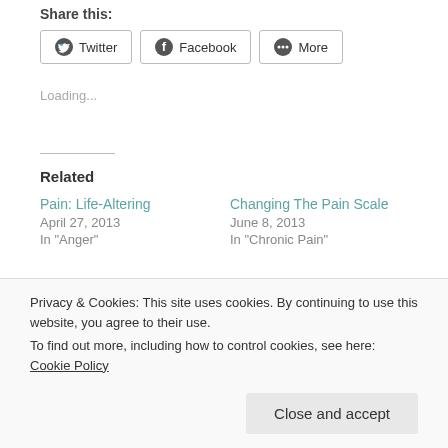Share this:
Twitter
Facebook
More
Loading...
Related
Pain: Life-Altering
April 27, 2013
In "Anger"
Changing The Pain Scale
June 8, 2013
In "Chronic Pain"
No One Plans On Being
Privacy & Cookies: This site uses cookies. By continuing to use this website, you agree to their use.
To find out more, including how to control cookies, see here: Cookie Policy
Close and accept
Pain Disorders
Writing